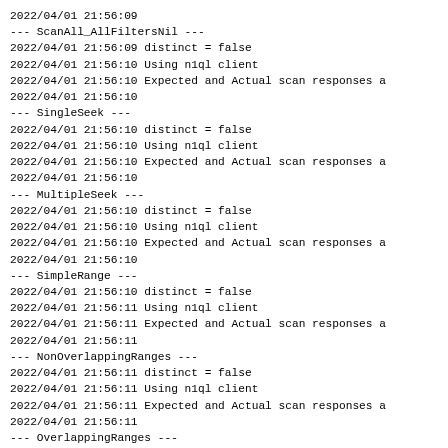2022/04/01 21:56:09
--- ScanAll_AllFiltersNil ---
2022/04/01 21:56:09 distinct = false
2022/04/01 21:56:10 Using n1ql client
2022/04/01 21:56:10 Expected and Actual scan responses a
2022/04/01 21:56:10
--- SingleSeek ---
2022/04/01 21:56:10 distinct = false
2022/04/01 21:56:10 Using n1ql client
2022/04/01 21:56:10 Expected and Actual scan responses a
2022/04/01 21:56:10
--- MultipleSeek ---
2022/04/01 21:56:10 distinct = false
2022/04/01 21:56:10 Using n1ql client
2022/04/01 21:56:10 Expected and Actual scan responses a
2022/04/01 21:56:10
--- SimpleRange ---
2022/04/01 21:56:10 distinct = false
2022/04/01 21:56:11 Using n1ql client
2022/04/01 21:56:11 Expected and Actual scan responses a
2022/04/01 21:56:11
--- NonOverlappingRanges ---
2022/04/01 21:56:11 distinct = false
2022/04/01 21:56:11 Using n1ql client
2022/04/01 21:56:11 Expected and Actual scan responses a
2022/04/01 21:56:11
--- OverlappingRanges ---
2022/04/01 21:56:11 distinct = false
2022/04/01 21:56:12 Using n1ql client
2022/04/01 21:56:12 Expected and Actual scan responses a